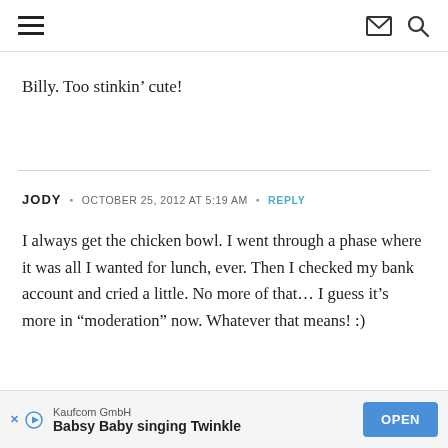navigation header with hamburger menu, envelope icon, and search icon
Billy. Too stinkin’ cute!
JODY • OCTOBER 25, 2012 AT 5:19 AM • REPLY
I always get the chicken bowl. I went through a phase where it was all I wanted for lunch, ever. Then I checked my bank account and cried a little. No more of that… I guess it’s more in “moderation” now. Whatever that means! :)
Kaufcom GmbH
Babsy Baby singing Twinkle
OPEN